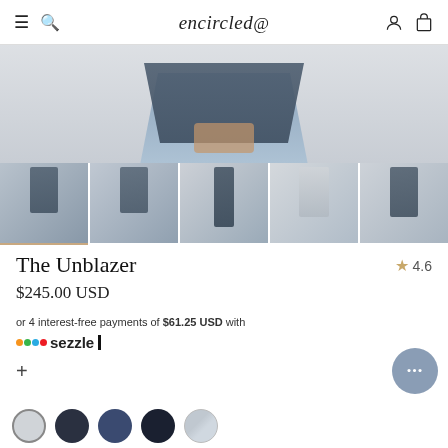encircled (navigation bar with hamburger, search, logo, account, cart icons)
[Figure (photo): Main product photo cropped showing lower torso of a person wearing a dark navy/slate blazer and light blue jeans with hands at sides]
[Figure (photo): Thumbnail strip of 5 product images showing The Unblazer in various poses and colors]
The Unblazer
4.6
$245.00 USD
or 4 interest-free payments of $61.25 USD with Sezzle
+
[Figure (photo): Color swatches at bottom: light grey (selected with border), dark navy, medium navy, dark charcoal, light blue/stripe]